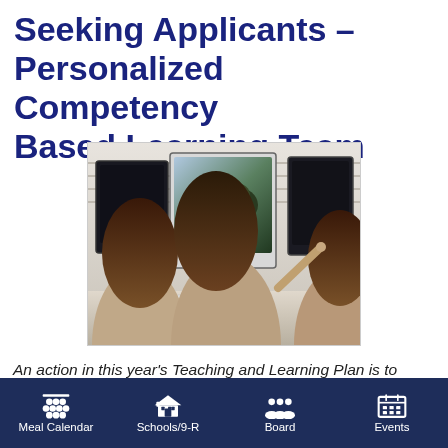Seeking Applicants – Personalized Competency Based Learning Team
[Figure (photo): Three female students sitting at a desk with Apple iMac computers, one pointing at a monitor screen]
An action in this year's Teaching and Learning Plan is to convene a Personalized Competency Based Learning (PCBL) Team. As the district continues to evolved its instructional practices to support personalized learning
Meal Calendar | Schools/9-R | Board | Events